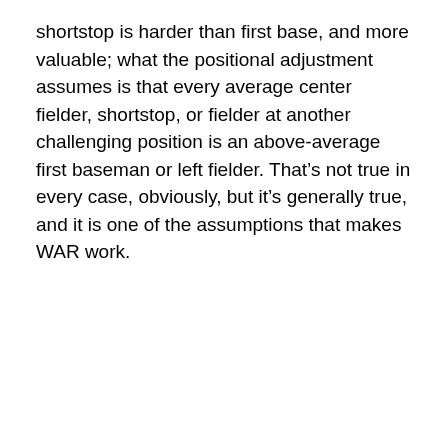shortstop is harder than first base, and more valuable; what the positional adjustment assumes is that every average center fielder, shortstop, or fielder at another challenging position is an above-average first baseman or left fielder. That's not true in every case, obviously, but it's generally true, and it is one of the assumptions that makes WAR work.